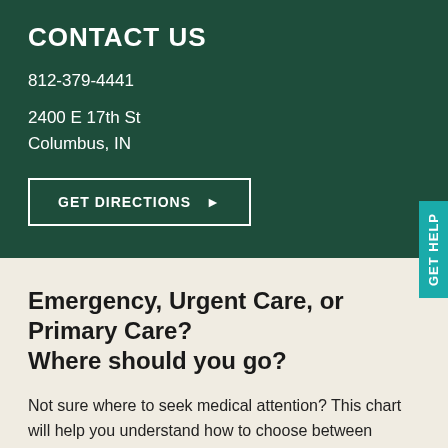CONTACT US
812-379-4441
2400 E 17th St
Columbus, IN
GET DIRECTIONS ▶
Emergency, Urgent Care, or Primary Care? Where should you go?
Not sure where to seek medical attention? This chart will help you understand how to choose between primary care, urgent care or the emergency department the next time you need care.